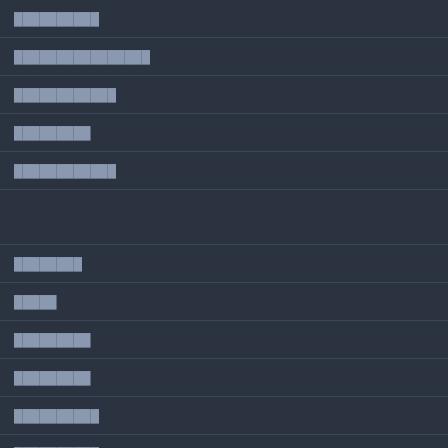██████████
████████████████
████████████
█████████
████████████
████████
█████
█████████
█████████
██████████
██████████
██████Netflix
██████████